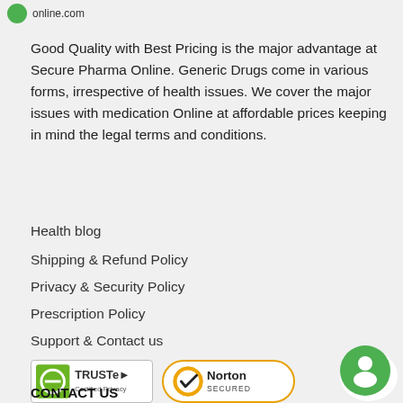online.com
Good Quality with Best Pricing is the major advantage at Secure Pharma Online. Generic Drugs come in various forms, irrespective of health issues. We cover the major issues with medication Online at affordable prices keeping in mind the legal terms and conditions.
Health blog
Shipping & Refund Policy
Privacy & Security Policy
Prescription Policy
Support & Contact us
[Figure (logo): TRUSTe Certified Privacy badge]
[Figure (logo): Norton SECURED badge]
CONTACT US